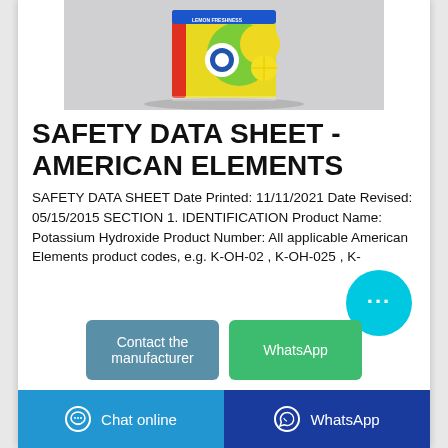[Figure (photo): Product photo of a yellow and green laundry detergent package labeled 'Lemon Freshness', displayed on a light grey background.]
SAFETY DATA SHEET - AMERICAN ELEMENTS
SAFETY DATA SHEET Date Printed: 11/11/2021 Date Revised: 05/15/2015 SECTION 1. IDENTIFICATION Product Name: Potassium Hydroxide Product Number: All applicable American Elements product codes, e.g. K-OH-02 , K-OH-025 , K-